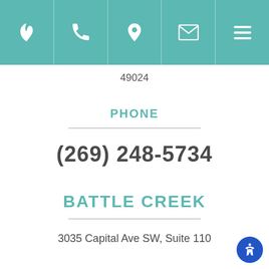[Figure (screenshot): Navigation bar with teal background showing a logo (flame/leaf icon), phone icon, map pin icon, envelope icon, and hamburger menu icon]
49024
PHONE
(269) 248-5734
BATTLE CREEK
3035 Capital Ave SW, Suite 110